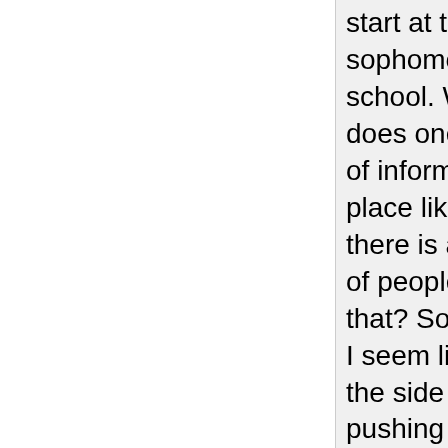start at this as a sophomore in high school. Where else does one get this kind of information but in a place like here, where there is a community of people doing just that? So yeah, sorry if I seem like a sore in the side by continually pushing the U3, it's just that, like it or not, people still use it. So either I can dump it and leave those suckers in the